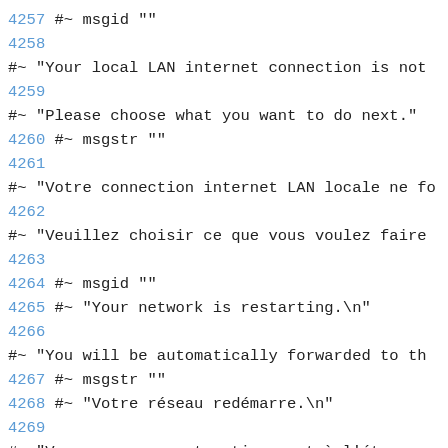4257 #~ msgid ""
4258
#~ "Your local LAN internet connection is not
4259
#~ "Please choose what you want to do next."
4260 #~ msgstr ""
4261
#~ "Votre connection internet LAN locale ne fo
4262
#~ "Veuillez choisir ce que vous voulez faire
4263
4264 #~ msgid ""
4265 #~ "Your network is restarting.\n"
4266
#~ "You will be automatically forwarded to th
4267 #~ msgstr ""
4268 #~ "Votre réseau redémarre.\n"
4269
#~ "Vous passerez automatiquement à l'étape s
4270